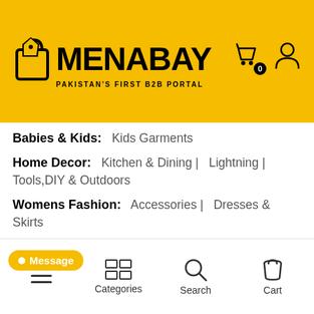[Figure (logo): MENABAY logo on yellow background with shopping bag icon and text 'PAKISTAN'S FIRST B2B PORTAL']
Babies & Kids: Kids Garments
Home Decor: Kitchen & Dining | Lightning | Tools,DIY & Outdoors
Womens Fashion: Accessories | Dresses & Skirts
Mens Fashion: Accessories | Kurtas & Shalwar Kameez | Shirts | Shoes | Sleepwear & Innerwear | Sweat Shirts | Tshirts | Winter Clothing
Sports Goods: Basket Ball | Beach Ball | Exercise & Fitness | Fitness Gadgets | Football | Footwear | Gloves | Outdoor Recreation | Rugby Ball |
Message   Categories   Search   Cart